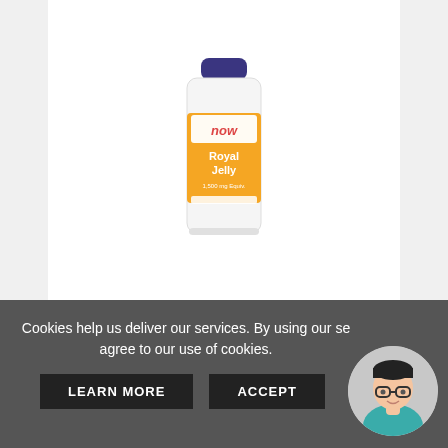[Figure (photo): NOW Foods Royal Jelly supplement bottle with orange and white label, 60 softgels, displayed on white background]
Royal Jelly - 60 softgels
only £16.04
★★★★★
VIEW
ADD TO CART
Cookies help us deliver our services. By using our services, you agree to our use of cookies.
LEARN MORE
ACCEPT